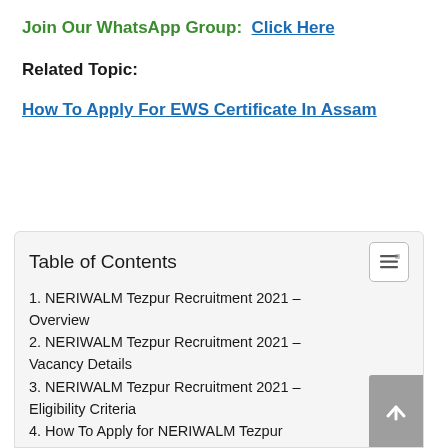Join Our WhatsApp Group:  Click Here
Related Topic:
How To Apply For EWS Certificate In Assam
Table of Contents
1. NERIWALM Tezpur Recruitment 2021 – Overview
2. NERIWALM Tezpur Recruitment 2021 – Vacancy Details
3. NERIWALM Tezpur Recruitment 2021 – Eligibility Criteria
4. How To Apply for NERIWALM Tezpur...